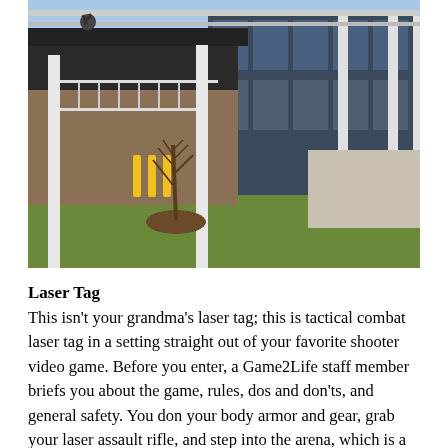[Figure (photo): Exterior photograph of a large commercial/industrial building with glass windows, white structural columns, a covered walkway/pergola on the right side, a second-floor balcony with white railings on the left, yellow bollards near an entrance, and a young tree planted in a grassy area in the foreground. Blue sky visible in the background.]
Laser Tag
This isn't your grandma's laser tag; this is tactical combat laser tag in a setting straight out of your favorite shooter video game. Before you enter, a Game2Life staff member briefs you about the game, rules, dos and don'ts, and general safety. You don your body armor and gear, grab your laser assault rifle, and step into the arena, which is a labyrinth of